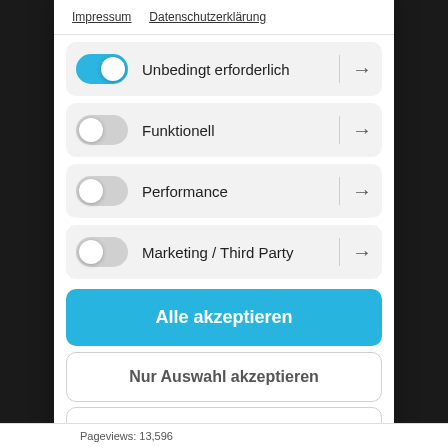Impressum   Datenschutzerklärung
Unbedingt erforderlich
Funktionell
Performance
Marketing / Third Party
Alle akzeptieren
Nur Auswahl akzeptieren
Alle ablehnen
Pageviews: 13,596